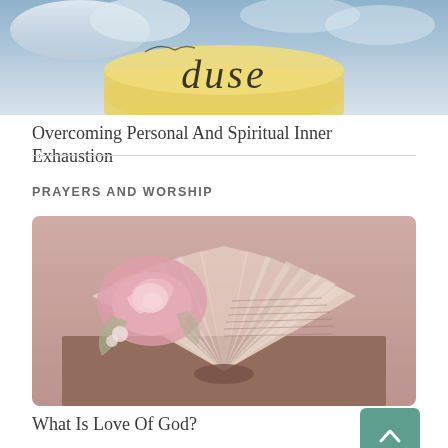[Figure (photo): Partial image at top showing cursive script 'duse' text against a blue sky background]
Overcoming Personal And Spiritual Inner Exhaustion
PRAYERS AND WORSHIP
[Figure (photo): A pink rose resting on an open book with pages folded into a heart shape, warm pink/purple toned photo]
What Is Love Of God?
[Figure (photo): Partial bottom image, dark toned, partially visible]